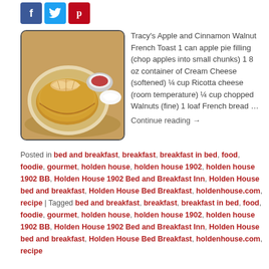[Figure (other): Social share icons: Facebook (blue), Twitter (light blue), Pinterest (red)]
[Figure (photo): Photo of French toast with apple slices on top, served on a plate with a side of sauce]
Tracy's Apple and Cinnamon Walnut French Toast 1 can apple pie filling (chop apples into small chunks) 1 8 oz container of Cream Cheese (softened) ¼ cup Ricotta cheese (room temperature) ¼ cup chopped Walnuts (fine) 1 loaf French bread … Continue reading →
Posted in bed and breakfast, breakfast, breakfast in bed, food, foodie, gourmet, holden house, holden house 1902, holden house 1902 BB, Holden House 1902 Bed and Breakfast Inn, Holden House bed and breakfast, Holden House Bed Breakfast, holdenhouse.com, recipe | Tagged bed and breakfast, breakfast, breakfast in bed, food, foodie, gourmet, holden house, holden house 1902, holden house 1902 BB, Holden House 1902 Bed and Breakfast Inn, Holden House bed and breakfast, Holden House Bed Breakfast, holdenhouse.com, recipe